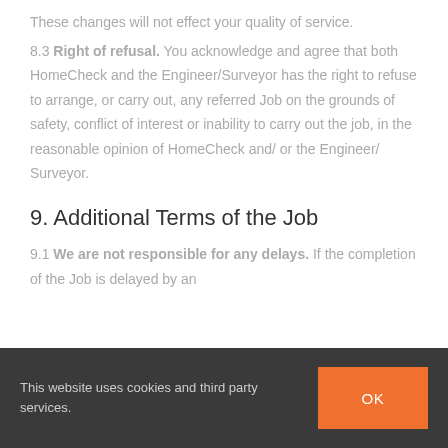These changes will not effect your quality of service.
8.3 Right of refusal. You acknowledge and agree that both HomeCheck and the Engineer/Surveyor has the right to refuse to arrange, or carry out, any referred Job on the grounds of safety, conflict of interest or inability to carry out the job, in the reasonable opinion of HomeCheck and/ or the Engineer/ Surveyor.
9. Additional Terms of the Job
9.1 We are not responsible for any delays. If the completion of the Job is delayed by an
This website uses cookies and third party services.
OK